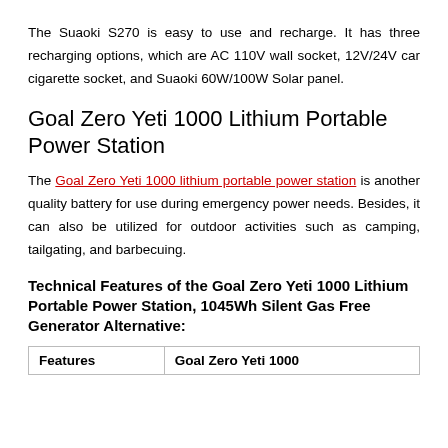The Suaoki S270 is easy to use and recharge. It has three recharging options, which are AC 110V wall socket, 12V/24V car cigarette socket, and Suaoki 60W/100W Solar panel.
Goal Zero Yeti 1000 Lithium Portable Power Station
The Goal Zero Yeti 1000 lithium portable power station is another quality battery for use during emergency power needs. Besides, it can also be utilized for outdoor activities such as camping, tailgating, and barbecuing.
Technical Features of the Goal Zero Yeti 1000 Lithium Portable Power Station, 1045Wh Silent Gas Free Generator Alternative:
| Features | Goal Zero Yeti 1000 |
| --- | --- |